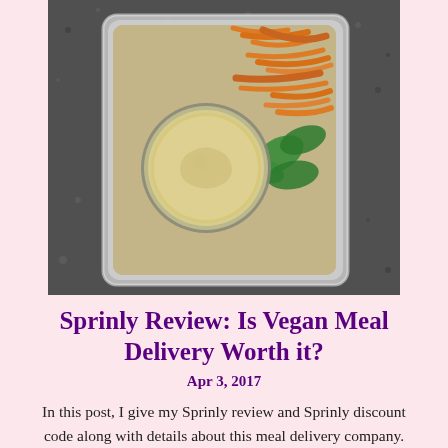[Figure (photo): Top-down view of a plastic meal prep container with a round container of yellow/cream sauce or hummus in the center, surrounded by shredded orange carrots, green leafy vegetables, and grains on a dark granite countertop.]
Sprinly Review: Is Vegan Meal Delivery Worth it?
Apr 3, 2017
In this post, I give my Sprinly review and Sprinly discount code along with details about this meal delivery company. Sprinly is a plant-based food delivery service that provides fully prepared